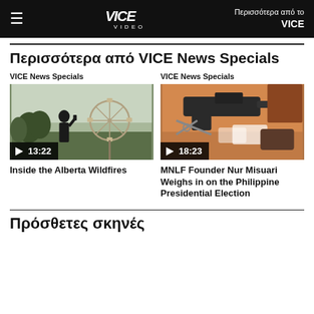VICE VIDEO — Περισσότερα από το VICE
Περισσότερα από VICE News Specials
VICE News Specials
[Figure (photo): Video thumbnail showing a silhouette of a person against a ferris wheel in an open field, with play button and duration 13:22]
Inside the Alberta Wildfires
VICE News Specials
[Figure (photo): Video thumbnail showing a handgun, scissors, and drug paraphernalia on a table, with play button and duration 18:23]
MNLF Founder Nur Misuari Weighs in on the Philippine Presidential Election
Πρόσθετες σκηνές